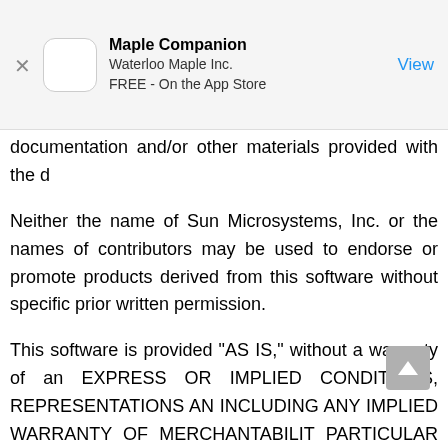Maple Companion
Waterloo Maple Inc.
FREE - On the App Store
documentation and/or other materials provided with the distribution.
Neither the name of Sun Microsystems, Inc. or the names of contributors may be used to endorse or promote products derived from this software without specific prior written permission.
This software is provided "AS IS," without a warranty of any kind. EXPRESS OR IMPLIED CONDITIONS, REPRESENTATIONS AND WARRANTIES, INCLUDING ANY IMPLIED WARRANTY OF MERCHANTABILITY, FITNESS FOR A PARTICULAR PURPOSE OR NON-INFRINGEMENT, ARE HEREBY EXCLUDED. SUN MICROSYSTEMS, INC. ("SUN") AND ITS LICENSORS SHALL NOT BE LIABLE FOR ANY DAMAGES SUFFERED BY LICENSEE AS A RESULT OF USING, MODIFYING OR DISTRIBUTING THIS SOFTWARE OR ITS DERIVATIVES. IN NO